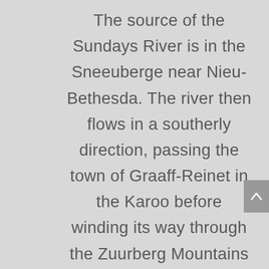The source of the Sundays River is in the Sneeuberge near Nieu-Bethesda. The river then flows in a southerly direction, passing the town of Graaff-Reinet in the Karoo before winding its way through the Zuurberg Mountains and then past Kirkwood and the Addo National Park in the fertile Sundays River Valley. It empties into the Indian Ocean at Algoa Bay near Port Elizabeth.